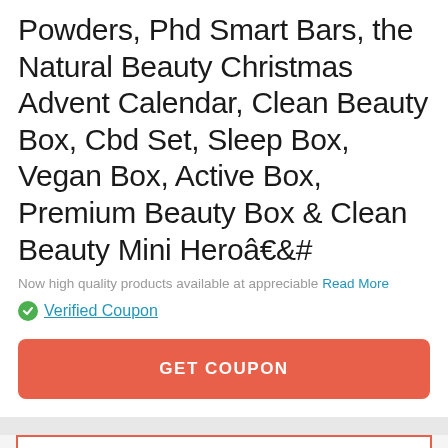Powders, Phd Smart Bars, the Natural Beauty Christmas Advent Calendar, Clean Beauty Box, Cbd Set, Sleep Box, Vegan Box, Active Box, Premium Beauty Box & Clean Beauty Mini Heroâ€&#
Now high quality products available at appreciable
Read More
Verified Coupon
GET COUPON
20% OFF
CODE